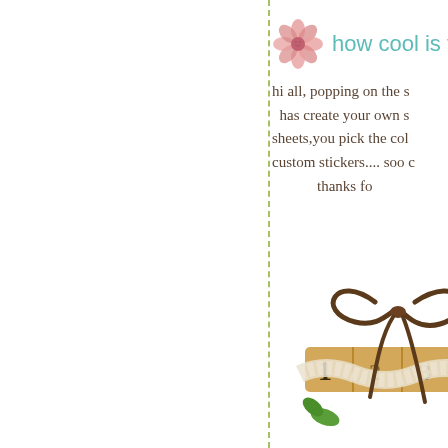[Figure (illustration): Pink flower decorative illustration in upper left of right panel]
how cool is th
hi all, popping on the s has create your own s sheets,you pick the col custom stickers.... soo c thanks fo
[Figure (illustration): Decorative craft element showing wooden numbered blocks (1, 2, 3) tied with brown leather cord bow, lace ribbon, and green leaves]